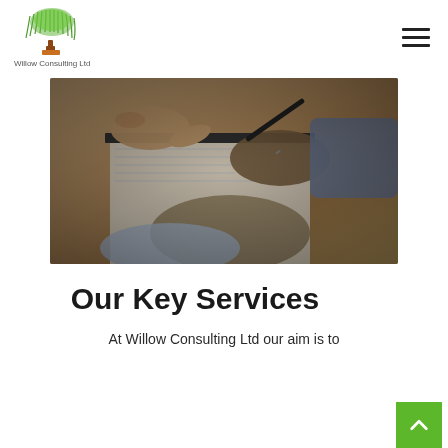Willow Consulting Ltd
[Figure (photo): Two people reviewing and signing a document on a wooden table; one hand pointing at the paper, the other holding a pen.]
Our Key Services
At Willow Consulting Ltd our aim is to